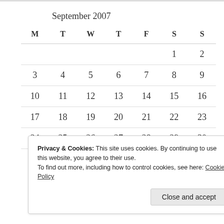September 2007
| M | T | W | T | F | S | S |
| --- | --- | --- | --- | --- | --- | --- |
|  |  |  |  |  | 1 | 2 |
| 3 | 4 | 5 | 6 | 7 | 8 | 9 |
| 10 | 11 | 12 | 13 | 14 | 15 | 16 |
| 17 | 18 | 19 | 20 | 21 | 22 | 23 |
| 24 | 25 | 26 | 27 | 28 | 29 | 30 |
Privacy & Cookies: This site uses cookies. By continuing to use this website, you agree to their use.
To find out more, including how to control cookies, see here: Cookie Policy
Close and accept